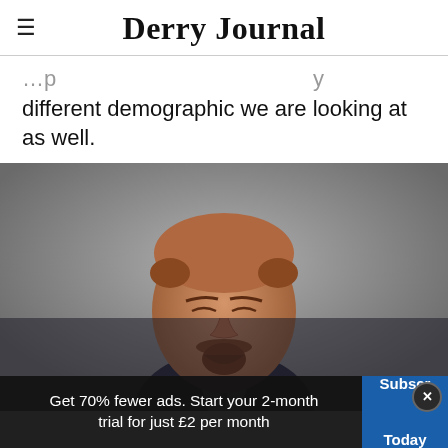Derry Journal
different demographic we are looking at as well.
[Figure (photo): A middle-aged man with a goatee beard wearing a dark suit, photographed from the chest up against a grey background. A semi-transparent dark overlay covers the lower portion of the image.]
Get 70% fewer ads. Start your 2-month trial for just £2 per month
Subscribe Today